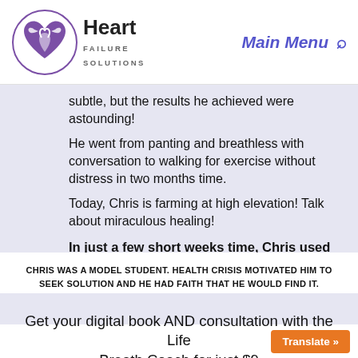Heart Failure Solutions — Main Menu
subtle, but the results he achieved were astounding!
He went from panting and breathless with conversation to walking for exercise without distress in two months time.
Today, Chris is farming at high elevation! Talk about miraculous healing!
In just a few short weeks time, Chris used what he learned from the Life Breath Coach to take his life back!
CHRIS WAS A MODEL STUDENT. HEALTH CRISIS MOTIVATED HIM TO SEEK SOLUTION AND HE HAD FAITH THAT HE WOULD FIND IT.
Get your digital book AND consultation with the Life Breath Coach for just $9